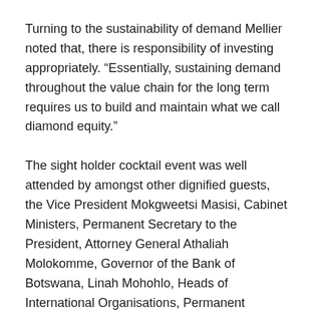Turning to the sustainability of demand Mellier noted that, there is responsibility of investing appropriately. “Essentially, sustaining demand throughout the value chain for the long term requires us to build and maintain what we call diamond equity.”
The sight holder cocktail event was well attended by amongst other dignified guests, the Vice President Mokgweetsi Masisi, Cabinet Ministers, Permanent Secretary to the President, Attorney General Athaliah Molokomme, Governor of the Bank of Botswana, Linah Mohohlo, Heads of International Organisations, Permanent Secretaries and captains of industry.